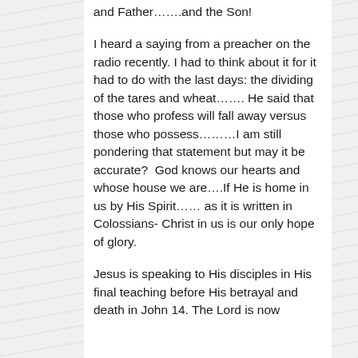and Father…….and the Son!
I heard a saying from a preacher on the radio recently. I had to think about it for it had to do with the last days: the dividing of the tares and wheat……. He said that those who profess will fall away versus those who possess………I am still pondering that statement but may it be accurate?  God knows our hearts and whose house we are….If He is home in us by His Spirit…… as it is written in Colossians- Christ in us is our only hope of glory.
Jesus is speaking to His disciples in His final teaching before His betrayal and death in John 14. The Lord is now